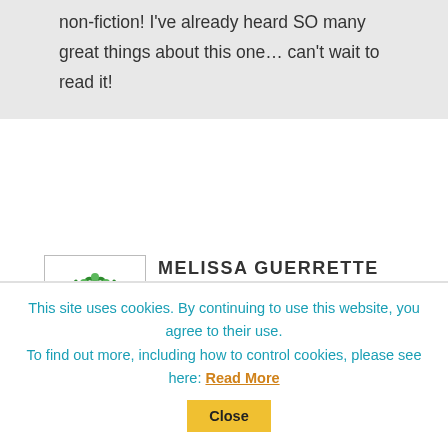non-fiction! I've already heard SO many great things about this one… can't wait to read it!
MELISSA GUERRETTE
6:25 pm on June 18, 2013
[Figure (illustration): Avatar illustration of a cartoon plant character - brown bulb body with green tentacle-like arms and red flower on top, pixel art style]
I know the perfect reader for this
This site uses cookies. By continuing to use this website, you agree to their use.
To find out more, including how to control cookies, please see here: Read More
Close